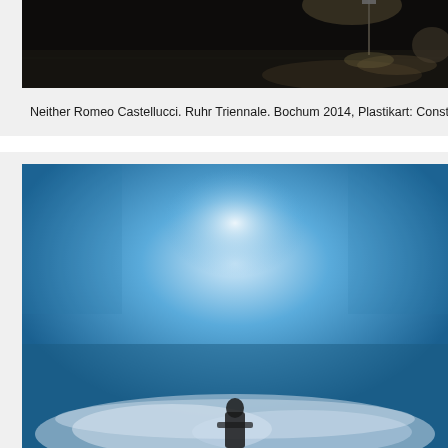[Figure (photo): Dark, dramatic stage or industrial scene photograph in black and white/dark tones, showing a large open space with overhead lighting and a lamp post visible.]
Neither Romeo Castellucci. Ruhr Triennale. Bochum 2014, Plastikart: Constr
[Figure (photo): Blue-toned stage photograph with smoke/mist at the bottom, a figure visible at lower center, against a vivid blue background with a bright central light source.]